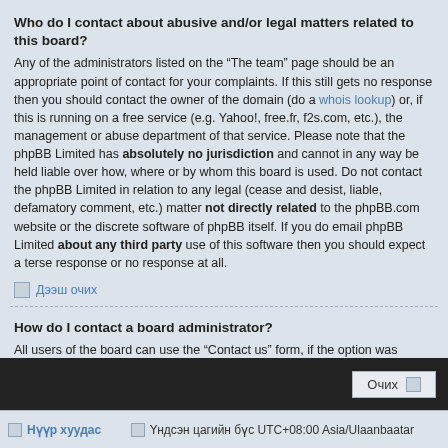Who do I contact about abusive and/or legal matters related to this board?
Any of the administrators listed on the “The team” page should be an appropriate point of contact for your complaints. If this still gets no response then you should contact the owner of the domain (do a whois lookup) or, if this is running on a free service (e.g. Yahoo!, free.fr, f2s.com, etc.), the management or abuse department of that service. Please note that the phpBB Limited has absolutely no jurisdiction and cannot in any way be held liable over how, where or by whom this board is used. Do not contact the phpBB Limited in relation to any legal (cease and desist, liable, defamatory comment, etc.) matter not directly related to the phpBB.com website or the discrete software of phpBB itself. If you do email phpBB Limited about any third party use of this software then you should expect a terse response or no response at all.
Дээш очих
How do I contact a board administrator?
All users of the board can use the “Contact us” form, if the option was enabled by the board administrator.
Members of the board can also use the “The team” link.
Дээш очих
Нүүр хуудас | Үндсэн цагийн бүс UTC+08:00 Asia/Ulaanbaatar